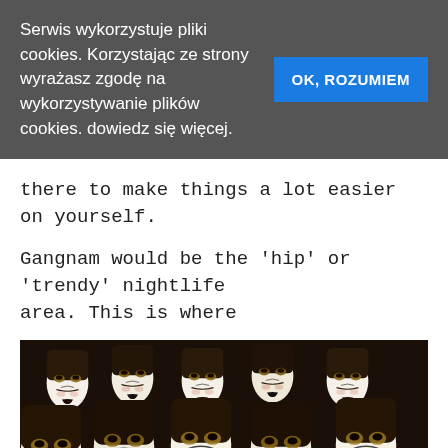Serwis wykorzystuje pliki cookies. Korzystając ze strony wyrażasz zgodę na wykorzystywanie plików cookies. dowiedz się więcej.
OK, ROZUMIEM
there to make things a lot easier on yourself.
Gangnam would be the 'hip' or 'trendy' nightlife area. This is where
[Figure (photo): A crowd of people wearing Guy Fawkes / Anonymous masks with dark hoods, filling the entire frame.]